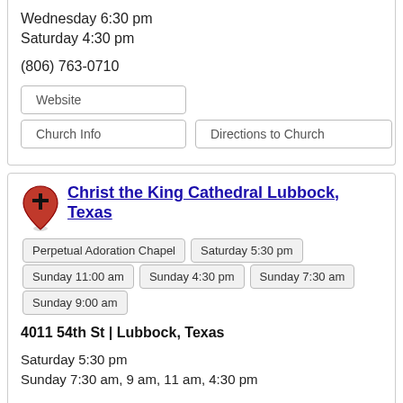Wednesday 6:30 pm
Saturday 4:30 pm
(806) 763-0710
Website
Church Info
Directions to Church
Christ the King Cathedral Lubbock, Texas
Perpetual Adoration Chapel
Saturday 5:30 pm
Sunday 11:00 am
Sunday 4:30 pm
Sunday 7:30 am
Sunday 9:00 am
4011 54th St | Lubbock, Texas
Saturday 5:30 pm
Sunday 7:30 am, 9 am, 11 am, 4:30 pm
Monday-Wednesday 6:55 am
Thursday, Friday, Saturday 8:15 am
Confession Saturday 3-5 pm